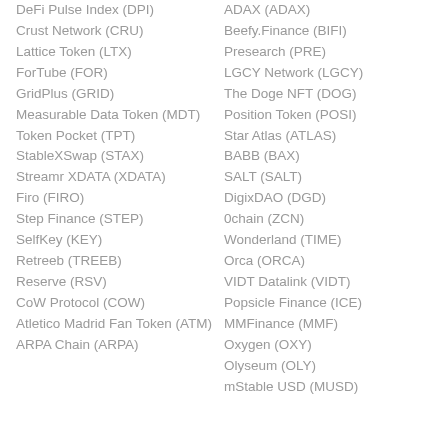DeFi Pulse Index (DPI)
ADAX (ADAX)
Crust Network (CRU)
Beefy.Finance (BIFI)
Lattice Token (LTX)
Presearch (PRE)
ForTube (FOR)
LGCY Network (LGCY)
GridPlus (GRID)
The Doge NFT (DOG)
Measurable Data Token (MDT)
Position Token (POSI)
Star Atlas (ATLAS)
Token Pocket (TPT)
BABB (BAX)
StableXSwap (STAX)
SALT (SALT)
Streamr XDATA (XDATA)
DigixDAO (DGD)
Firo (FIRO)
0chain (ZCN)
Step Finance (STEP)
Wonderland (TIME)
SelfKey (KEY)
Orca (ORCA)
Retreeb (TREEB)
VIDT Datalink (VIDT)
Reserve (RSV)
Popsicle Finance (ICE)
CoW Protocol (COW)
MMFinance (MMF)
Atletico Madrid Fan Token (ATM)
Oxygen (OXY)
Olyseum (OLY)
ARPA Chain (ARPA)
mStable USD (MUSD)